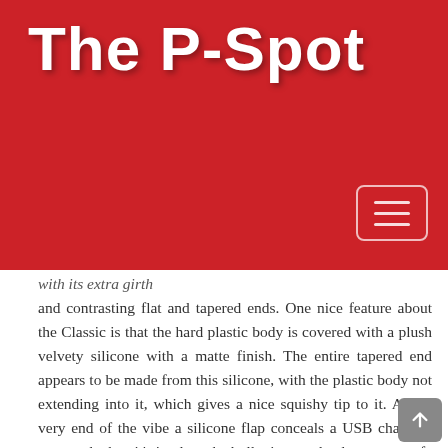The P-Spot
with its extra girth and contrasting flat and tapered ends. One nice feature about the Classic is that the hard plastic body is covered with a plush velvety silicone with a matte finish. The entire tapered end appears to be made from this silicone, with the plastic body not extending into it, which gives a nice squishy tip to it. At the very end of the vibe a silicone flap conceals a USB charging port, and when it's in place the bullet is completely waterproof. The Classic has five speeds and seven different patterns to choose from, and these are selected with three buttons on the side of the bullet.